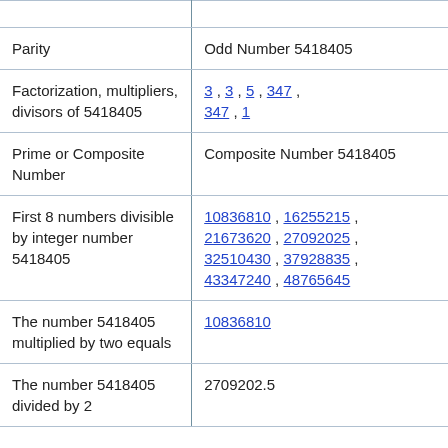| Property | Value |
| --- | --- |
| Parity | Odd Number 5418405 |
| Factorization, multipliers, divisors of 5418405 | 3 , 3 , 5 , 347 , 347 , 1 |
| Prime or Composite Number | Composite Number 5418405 |
| First 8 numbers divisible by integer number 5418405 | 10836810 , 16255215 , 21673620 , 27092025 , 32510430 , 37928835 , 43347240 , 48765645 |
| The number 5418405 multiplied by two equals | 10836810 |
| The number 5418405 divided by 2 | 2709202.5 |